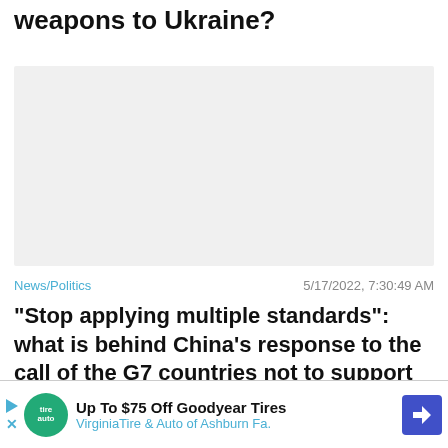weapons to Ukraine?
[Figure (other): Gray placeholder/advertisement area]
News/Politics
5/17/2022, 7:30:49 AM
“Stop applying multiple standards”: what is behind China's response to the call of the G7 countries not to support Russia
[Figure (photo): Partial photo of a person, partially obscured by ad overlay]
[Figure (other): Advertisement banner: Up To $75 Off Goodyear Tires - VirginiaTire & Auto of Ashburn Fa.]
Close X